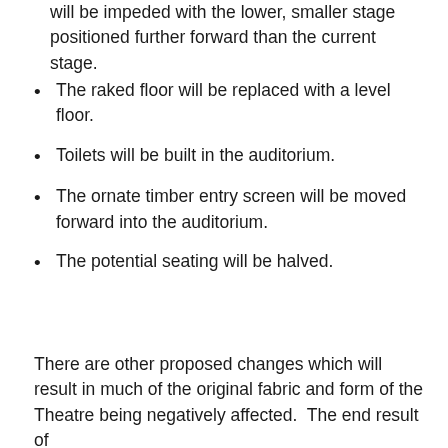will be impeded with the lower, smaller stage positioned further forward than the current stage.
The raked floor will be replaced with a level floor.
Toilets will be built in the auditorium.
The ornate timber entry screen will be moved forward into the auditorium.
The potential seating will be halved.
There are other proposed changes which will result in much of the original fabric and form of the Theatre being negatively affected.  The end result of